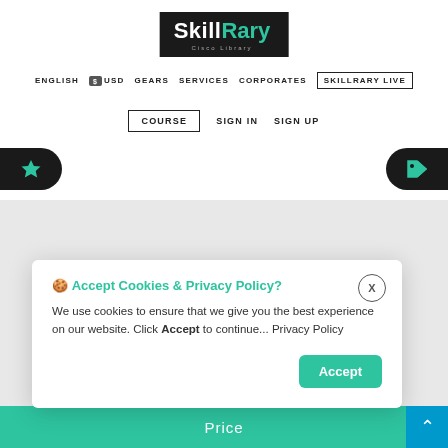[Figure (logo): SkillRary logo — white text on black background with green 'Rary' text and subtitle 'Cisco Library']
ENGLISH  USD  GEARS  SERVICES  CORPORATES  SKILLRARY LIVE
COURSE  SIGN IN  SIGN UP
🍪 Accept Cookies & Privacy Policy?
We use cookies to ensure that we give you the best experience on our website. Click Accept to continue... Privacy Policy
Price